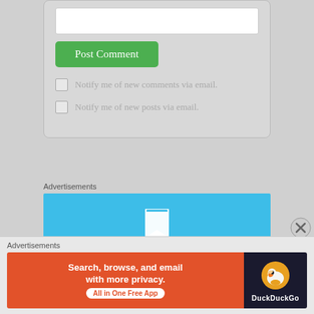Post Comment
Notify me of new comments via email.
Notify me of new posts via email.
Advertisements
[Figure (screenshot): Blue advertisement banner with a white bookmark icon in the center]
Advertisements
[Figure (screenshot): DuckDuckGo advertisement: orange-red section with text 'Search, browse, and email with more privacy. All in One Free App' and dark section with DuckDuckGo logo]